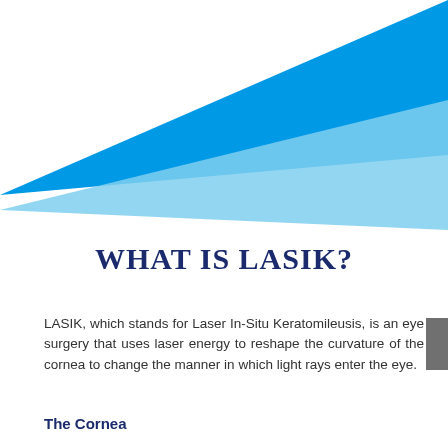[Figure (illustration): Decorative graphic with two overlapping triangular shapes in bright blue and light blue, pointing left, spanning the upper portion of the page as a design element.]
WHAT IS LASIK?
LASIK, which stands for Laser In-Situ Keratomileusis, is an eye surgery that uses laser energy to reshape the curvature of the cornea to change the manner in which light rays enter the eye.
The Cornea